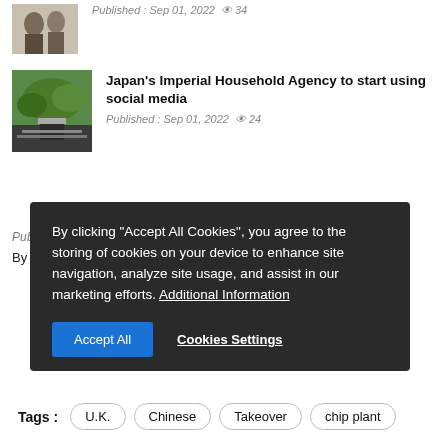[Figure (photo): Partial thumbnail of people, cropped at top]
Published : Sep 01, 2022  34
[Figure (photo): Thumbnail of Japanese garden/building with trees]
Japan's Imperial Household Agency to start using social media
Published : Sep 01, 2022  24
Published : July 09, 2021
By Washington Post, Bloomberg · Kitty Do
By clicking "Accept All Cookies", you agree to the storing of cookies on your device to enhance site navigation, analyze site usage, and assist in our marketing efforts. Additional Information
[Figure (infographic): BitLife advertisement banner - START A NEW LIFE]
Tags : U.K.  Chinese  Takeover  chip plant